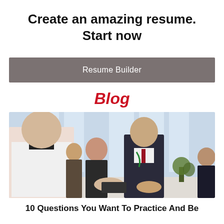Create an amazing resume. Start now
Resume Builder
Blog
[Figure (photo): Office/business setting showing people shaking hands or exchanging documents, with a man in a suit and a woman in background, large windows behind them.]
10 Questions You Want To Practice And Be